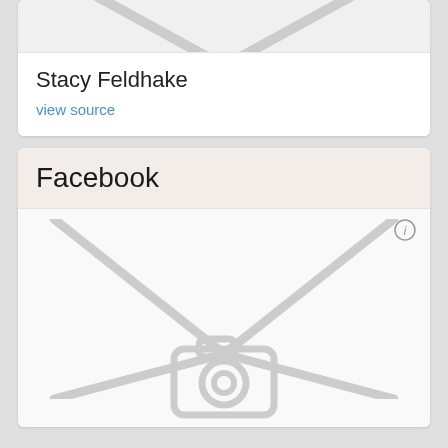[Figure (illustration): Placeholder image with diagonal lines forming an envelope/image placeholder shape, top portion cut off]
Stacy Feldhake
view source
Facebook
[Figure (illustration): Large placeholder image with diagonal lines and a camera icon at the bottom center, with an info icon in the top right corner]